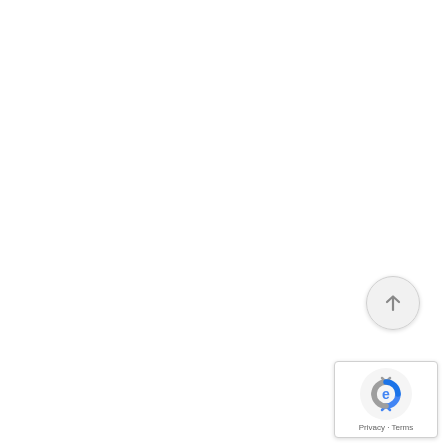[Figure (other): Scroll-to-top button: a circular button with a light gray background and an upward-pointing arrow icon]
[Figure (other): Google reCAPTCHA badge widget showing the reCAPTCHA logo (blue and gray circular arrows) with 'Privacy - Terms' links at the bottom]